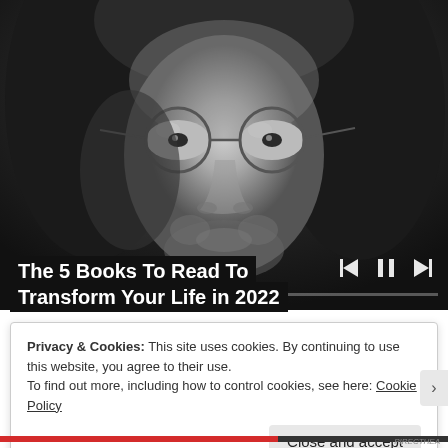[Figure (photo): Black and white close-up portrait of a young man with long hair wearing round wire-frame glasses, media player controls (previous, pause, next) and progress bar overlaid at bottom]
The 5 Books To Read To Transform Your Life in 2022
Privacy & Cookies: This site uses cookies. By continuing to use this website, you agree to their use.
To find out more, including how to control cookies, see here: Cookie Policy
Close and accept